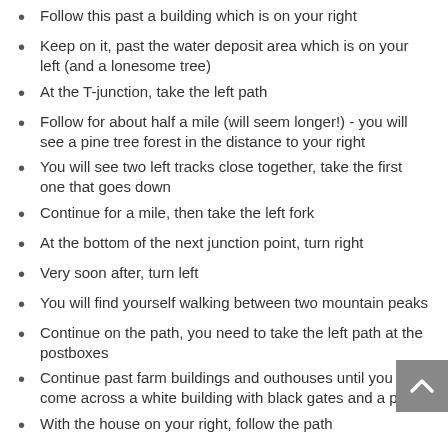Follow this past a building which is on your right
Keep on it, past the water deposit area which is on your left (and a lonesome tree)
At the T-junction, take the left path
Follow for about half a mile (will seem longer!) - you will see a pine tree forest in the distance to your right
You will see two left tracks close together, take the first one that goes down
Continue for a mile, then take the left fork
At the bottom of the next junction point, turn right
Very soon after, turn left
You will find yourself walking between two mountain peaks
Continue on the path, you need to take the left path at the postboxes
Continue past farm buildings and outhouses until you come across a white building with black gates and a pool
With the house on your right, follow the path